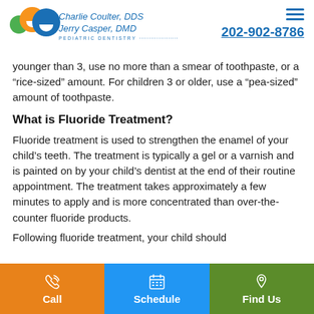Charlie Coulter, DDS / Jerry Casper, DMD — PEDIATRIC DENTISTRY — 202-902-8786
younger than 3, use no more than a smear of toothpaste, or a “rice-sized” amount. For children 3 or older, use a “pea-sized” amount of toothpaste.
What is Fluoride Treatment?
Fluoride treatment is used to strengthen the enamel of your child’s teeth. The treatment is typically a gel or a varnish and is painted on by your child’s dentist at the end of their routine appointment. The treatment takes approximately a few minutes to apply and is more concentrated than over-the-counter fluoride products.
Following fluoride treatment, your child should...
Call | Schedule | Find Us